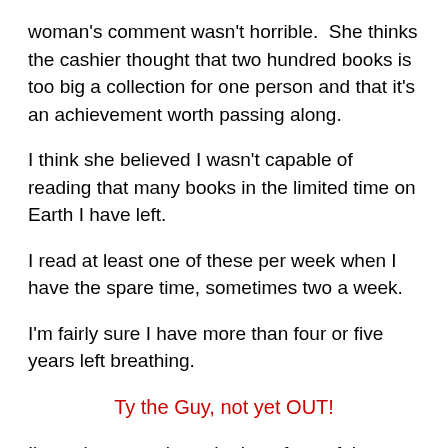woman's comment wasn't horrible.  She thinks the cashier thought that two hundred books is too big a collection for one person and that it's an achievement worth passing along.
I think she believed I wasn't capable of reading that many books in the limited time on Earth I have left.
I read at least one of these per week when I have the spare time, sometimes two a week.
I'm fairly sure I have more than four or five years left breathing.
Ty the Guy, not yet OUT!
I've only gotten through about forty of them since I started buying them at the Value Village, but quite a number of